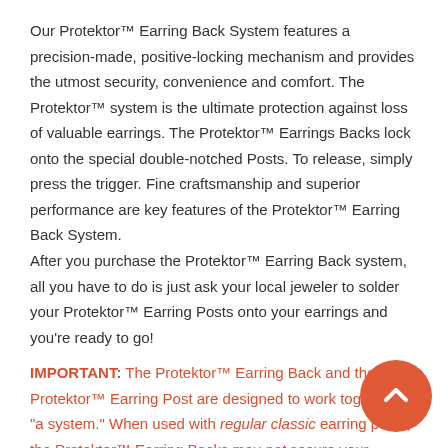Our Protektor™ Earring Back System features a precision-made, positive-locking mechanism and provides the utmost security, convenience and comfort. The Protektor™ system is the ultimate protection against loss of valuable earrings. The Protektor™ Earrings Backs lock onto the special double-notched Posts. To release, simply press the trigger. Fine craftsmanship and superior performance are key features of the Protektor™ Earring Back System.
After you purchase the Protektor™ Earring Back system, all you have to do is just ask your local jeweler to solder your Protektor™ Earring Posts onto your earrings and you're ready to go!
IMPORTANT: The Protektor™ Earring Back and the Protektor™ Earring Post are designed to work together as "a system." When used with regular classic earring posts, the Protektor™ Earring Backs may not secure your
[Figure (other): Orange circular back-to-top button with upward chevron arrow icon]